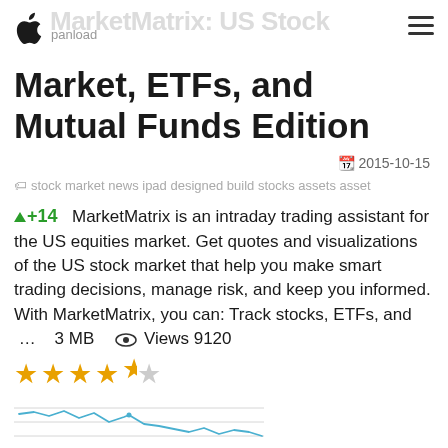panload  MarketMatrix: US Stock
MarketMatrix: US Stock Market, ETFs, and Mutual Funds Edition
2015-10-15
stock market news ipad designed build stocks assets asset
+14  MarketMatrix is an intraday trading assistant for the US equities market. Get quotes and visualizations of the US stock market that help you make smart trading decisions, manage risk, and keep you informed. With MarketMatrix, you can: Track stocks, ETFs, and ...    3 MB    Views 9120
[Figure (line-chart): Small sparkline/line chart showing a trend, displayed below the star rating row]